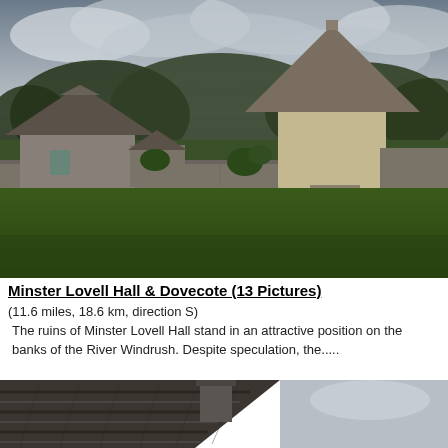[Figure (photo): Photograph of Minster Lovell Hall and Dovecote showing stone buildings with thatched and conical roofs, a large grassy lawn in the foreground, stone wall, and trees in the background under a cloudy sky.]
Minster Lovell Hall & Dovecote (13 Pictures)
(11.6 miles, 18.6 km, direction S)
The ruins of Minster Lovell Hall stand in an attractive position on the banks of the River Windrush. Despite speculation, the.....
[Figure (photo): Partial photograph showing close-up of a dark slate or stone roof with a chimney, and cloudy sky visible on the right side.]